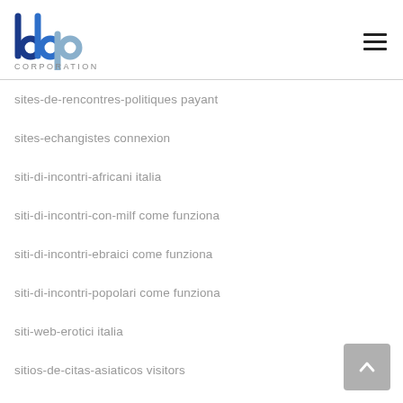[Figure (logo): BBP Corporation logo with blue and grey lettering and 'CORPORATION' text below]
sites-de-rencontres-politiques payant
sites-echangistes connexion
siti-di-incontri-africani italia
siti-di-incontri-con-milf come funziona
siti-di-incontri-ebraici come funziona
siti-di-incontri-popolari come funziona
siti-web-erotici italia
sitios-de-citas-asiaticos visitors
sitios-de-citas-catolicas web